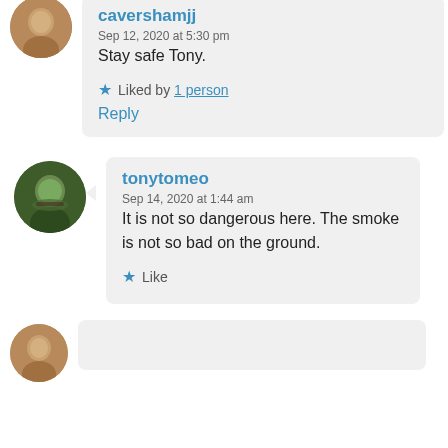cavershamjj
Sep 12, 2020 at 5:30 pm
Stay safe Tony.
Liked by 1 person
Reply
tonytomeo
Sep 14, 2020 at 1:44 am
It is not so dangerous here. The smoke is not so bad on the ground.
Like